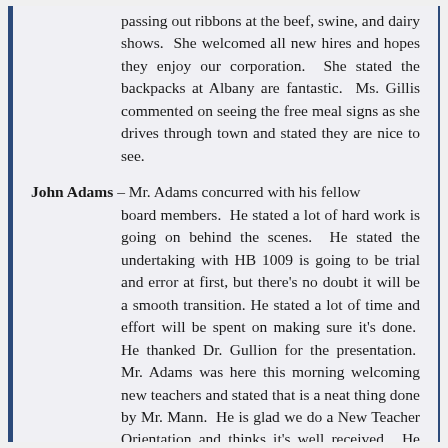passing out ribbons at the beef, swine, and dairy shows.  She welcomed all new hires and hopes they enjoy our corporation.  She stated the backpacks at Albany are fantastic.  Ms. Gillis commented on seeing the free meal signs as she drives through town and stated they are nice to see.
John Adams – Mr. Adams concurred with his fellow board members.  He stated a lot of hard work is going on behind the scenes.  He stated the undertaking with HB 1009 is going to be trial and error at first, but there's no doubt it will be a smooth transition. He stated a lot of time and effort will be spent on making sure it's done.  He thanked Dr. Gullion for the presentation.  Mr. Adams was here this morning welcoming new teachers and stated that is a neat thing done by Mr. Mann.  He is glad we do a New Teacher Orientation and thinks it's well received.  He stated the backpacks are a great asset for Albany families and he's glad there's